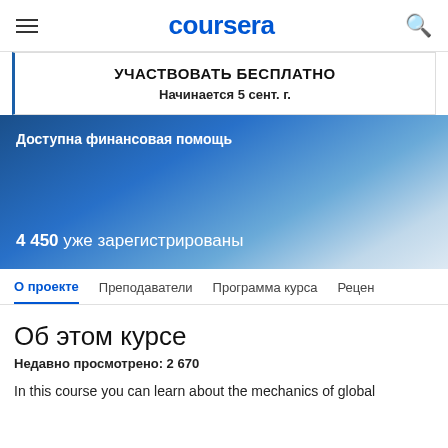coursera
УЧАСТВОВАТЬ БЕСПЛАТНО
Начинается 5 сент. г.
Доступна финансовая помощь
4 450 уже зарегистрированы
О проекте  Преподаватели  Программа курса  Рецен
Об этом курсе
Недавно просмотрено: 2 670
In this course you can learn about the mechanics of global